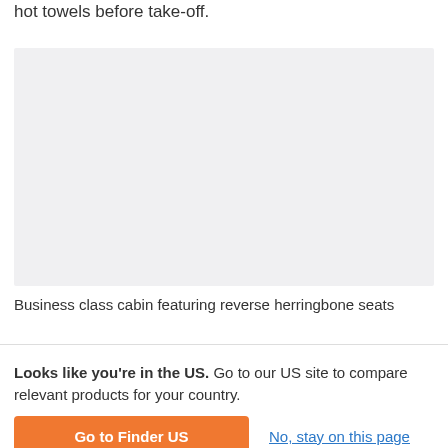hot towels before take-off.
[Figure (photo): Business class cabin featuring reverse herringbone seats (image placeholder shown as light grey rectangle)]
Business class cabin featuring reverse herringbone seats
Looks like you're in the US. Go to our US site to compare relevant products for your country.
Go to Finder US
No, stay on this page